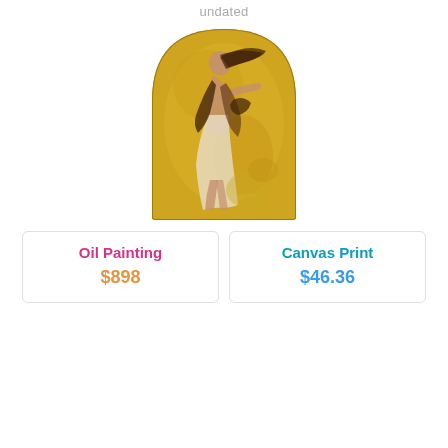undated
[Figure (illustration): A classical painting of a woman in flowing white garments dancing or moving dynamically against a golden background, with long flowing hair. The painting has an arched top (rounded at upper corners) and is set against a warm golden textured background.]
Oil Painting
$898
Canvas Print
$46.36